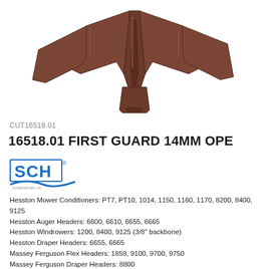[Figure (photo): Brown/dark red colored agricultural cutting guard - First Guard 14mm open type part, showing a multi-pronged metal/plastic guard component viewed from above at an angle]
CUT16518.01
16518.01 FIRST GUARD 14MM OPE
[Figure (logo): SCH brand logo with blue letters SCH and a blue swoosh/wave underneath, with registered trademark symbol]
Hesston Mower Conditioners: PT7, PT10, 1014, 1150, 1160, 1170, 8200, 8400, 9125
Hesston Auger Headers: 6600, 6610, 6655, 6665
Hesston Windrowers: 1200, 8400, 9125 (3/8" backbone)
Hesston Draper Headers: 6655, 6665
Massey Ferguson Flex Headers: 1859, 9100, 9700, 9750
Massey Ferguson Draper Headers: 8800
CaseIH Flex Headers: 3020, 3062, 3162